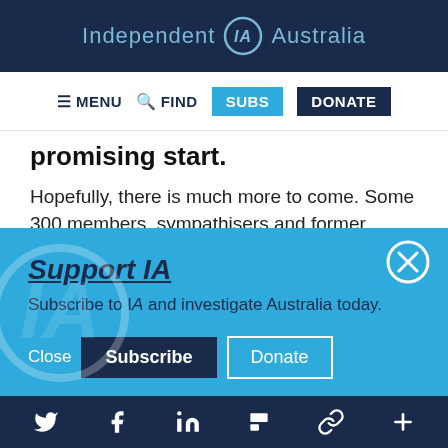Independent IA Australia
MENU  FIND  SUBS  DONATE
promising start.
Hopefully, there is much more to come. Some 300 members, sympathisers and former
Support IA
Subscribe to IA and investigate Australia today.
Close  Subscribe  Donate
Twitter  Facebook  LinkedIn  Flipboard  Link  Plus